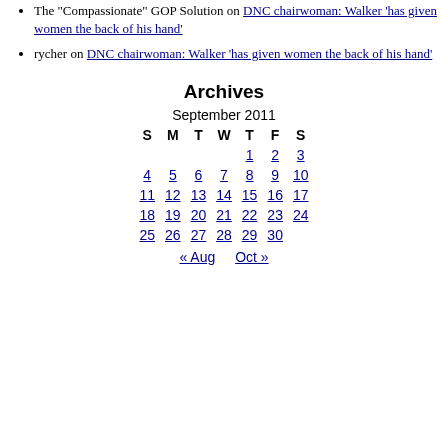The "Compassionate" GOP Solution on DNC chairwoman: Walker 'has given women the back of his hand'
rycher on DNC chairwoman: Walker 'has given women the back of his hand'
Archives
| S | M | T | W | T | F | S |
| --- | --- | --- | --- | --- | --- | --- |
|  |  |  |  | 1 | 2 | 3 |
| 4 | 5 | 6 | 7 | 8 | 9 | 10 |
| 11 | 12 | 13 | 14 | 15 | 16 | 17 |
| 18 | 19 | 20 | 21 | 22 | 23 | 24 |
| 25 | 26 | 27 | 28 | 29 | 30 |  |
« Aug   Oct »